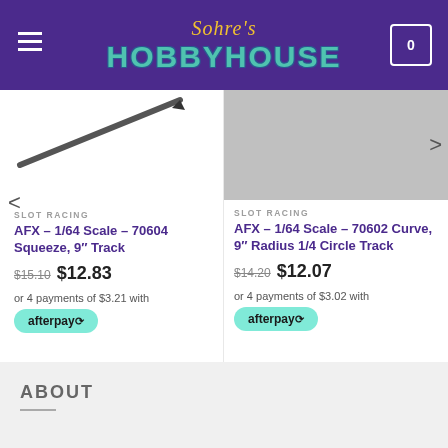Sohres Hobby House
[Figure (screenshot): Left product image area with pen/pencil graphic partially visible]
[Figure (photo): Right product image - gray placeholder slot racing track]
SLOT RACING
AFX – 1/64 Scale – 70604 Squeeze, 9″ Track
$15.10  $12.83
or 4 payments of $3.21 with
afterpay
SLOT RACING
AFX – 1/64 Scale – 70602 Curve, 9″ Radius 1/4 Circle Track
$14.20  $12.07
or 4 payments of $3.02 with
afterpay
ABOUT